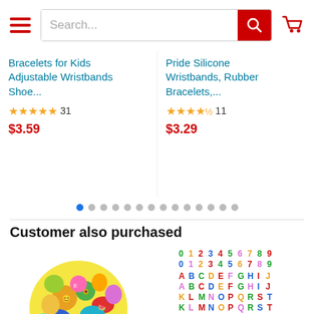Search bar with hamburger menu and cart icon
Bracelets for Kids Adjustable Wristbands Shoe...
★★★★★ 31  $3.59
Pride Silicone Wristbands, Rubber Bracelets,...
★★★★½ 11  $3.29
Customer also purchased
[Figure (photo): Pile of colorful mixed PVC shoe charms]
GOGO 120 Mixed PVC Shoe Charms, Great for
[Figure (photo): TOPTIE 72 PCS Letters Numbers Shoe Charms grid showing 0-9 twice and A-Z twice in colorful letters]
TOPTIE 72 PCS Letters Numbers Shoe Charms